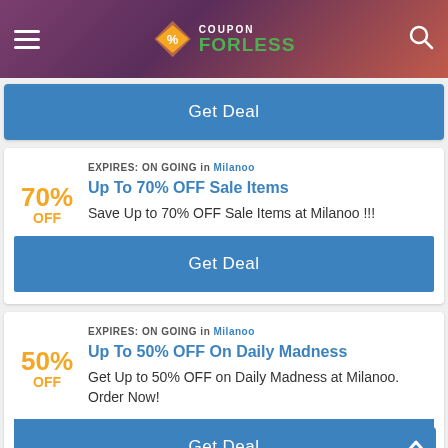Coupon ForLess
Get Deal
EXPIRES: ON GOING in Milanoo
Up To 70% OFF Sale Items
Save Up to 70% OFF Sale Items at Milanoo !!!
Get Deal
EXPIRES: ON GOING in Milanoo
Up To 50% OFF On Daily Madness
Get Up to 50% OFF on Daily Madness at Milanoo. Order Now!
Get Deal